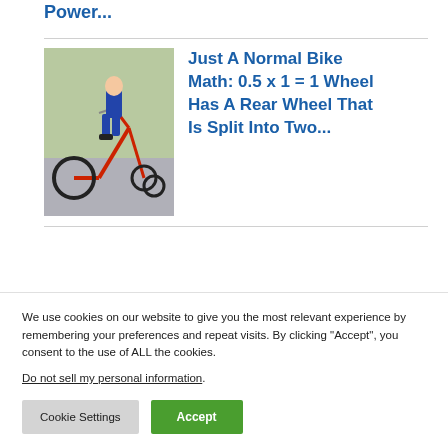Power...
[Figure (photo): Person riding an unusual red bicycle with a split rear wheel, outdoors on pavement]
Just A Normal Bike Math: 0.5 x 1 = 1 Wheel Has A Rear Wheel That Is Split Into Two...
[Figure (photo): A brown and white collie dog sitting near a wall]
Japanese Man Spent 2 Million Yen To Turn...
We use cookies on our website to give you the most relevant experience by remembering your preferences and repeat visits. By clicking “Accept”, you consent to the use of ALL the cookies.
Do not sell my personal information.